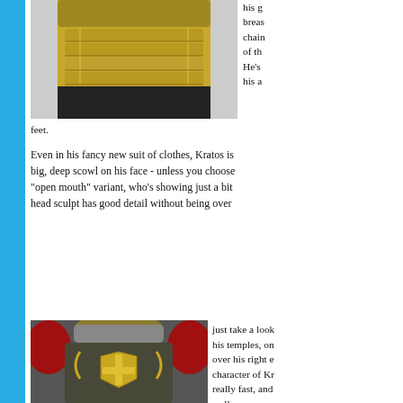[Figure (photo): Close-up photo of a golden/black armored breastplate figure, Kratos action figure torso detail]
his g breast chain of th He's his a feet.
Even in his fancy new suit of clothes, Kratos is big, deep scowl on his face - unless you choose "open mouth" variant, who's showing just a bit head sculpt has good detail without being over
[Figure (photo): Close-up photo of Kratos figure showing chest armor with gold and black detailing, red shoulder armor pieces visible]
just take a look his temples, on over his right e character of Kr really fast, and well.
The paint apps highlighting th like he's got gr covered in ash